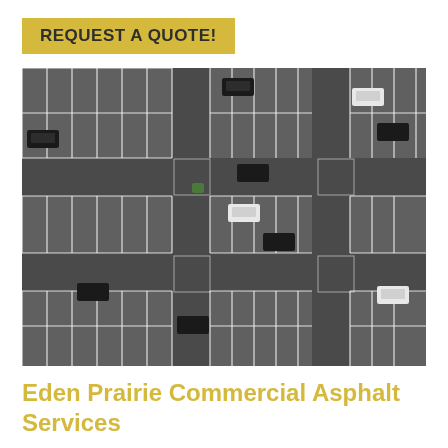REQUEST A QUOTE!
[Figure (photo): Aerial view of a large asphalt parking lot with white painted parking stall lines and several cars parked in various spaces]
Eden Prairie Commercial Asphalt Services